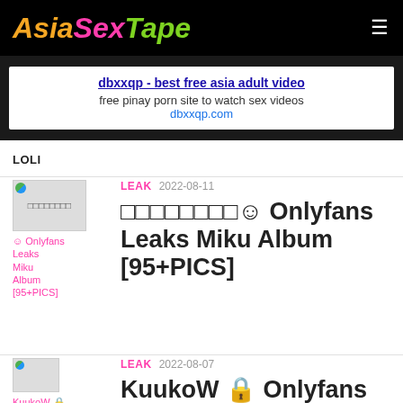AsiaSexTape
dbxxqp - best free asia adult video
free pinay porn site to watch sex videos
dbxxqp.com
LOLI
[Figure (other): Thumbnail image for Onlyfans Leaks Miku Album post]
LEAK  2022-08-11
□□□□□□□□☺ Onlyfans Leaks Miku Album [95+PICS]
[Figure (other): Thumbnail image for KuukoW Onlyfans Leaks post]
LEAK  2022-08-07
KuukoW 🔒 Onlyfans Leaks